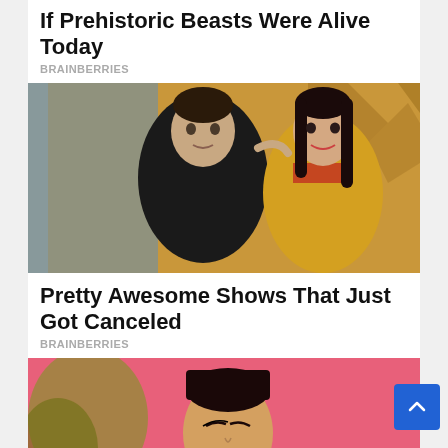If Prehistoric Beasts Were Alive Today
BRAINBERRIES
[Figure (photo): A man in a black sweater and a woman in a yellow and red outfit posing together on a colorful set]
Pretty Awesome Shows That Just Got Canceled
BRAINBERRIES
[Figure (photo): A woman with dark hair pulled back, wearing gold hoop earrings, posed against a pink and gold background]